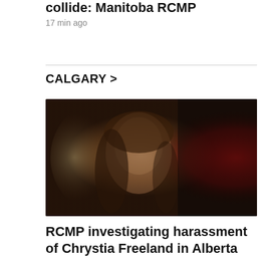collide: Manitoba RCMP
17 min ago
CALGARY >
[Figure (photo): Close-up portrait of a woman with long brown hair looking upward, dark and reddish blurred background]
RCMP investigating harassment of Chrystia Freeland in Alberta